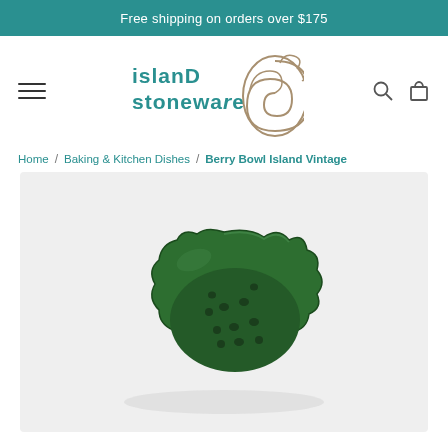Free shipping on orders over $175
[Figure (logo): Island Stoneware logo with teal text and swirling snail shell graphic in taupe]
Home / Baking & Kitchen Dishes / Berry Bowl Island Vintage
[Figure (photo): Green ceramic berry bowl with scalloped rim and perforated base, viewed from above on a light grey background]